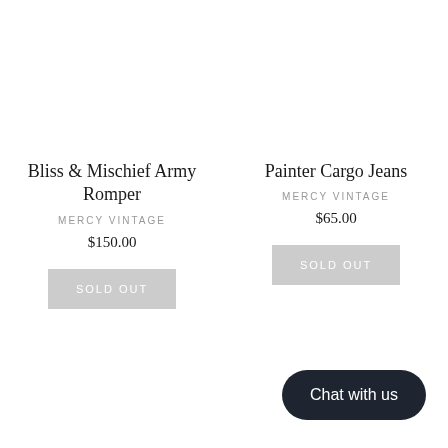Bliss & Mischief Army Romper
MERCY VINTAGE
$150.00
SOLD OUT
Painter Cargo Jeans
MERCY VINTAGE
$65.00
SOLD OUT
Chat with us